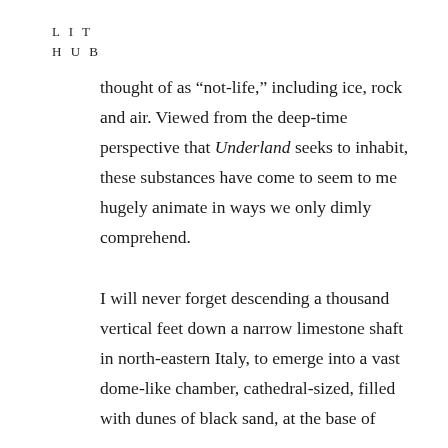L I T
H U B
thought of as “not-life,” including ice, rock and air. Viewed from the deep-time perspective that Underland seeks to inhabit, these substances have come to seem to me hugely animate in ways we only dimly comprehend.
I will never forget descending a thousand vertical feet down a narrow limestone shaft in north-eastern Italy, to emerge into a vast dome-like chamber, cathedral-sized, filled with dunes of black sand, at the base of